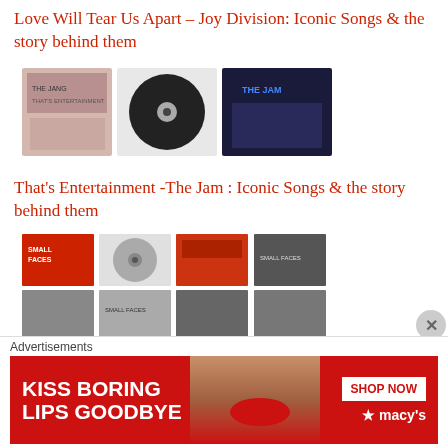Love Will Tear Us Apart – Joy Division: Iconic Songs & the story behind them
[Figure (photo): Thumbnail images of The Jam record singles and album covers]
That's Entertainment -The Jam : Iconic Songs & the story behind them
[Figure (photo): Grid of Small Faces album covers and singles thumbnails]
Tin Soldier – Small Faces : Iconic Songs & the story behind them
[Figure (photo): Photo of Going Underground single cover and vinyl record]
Going Underground – The Jam: Iconic Songs & the story…
[Figure (photo): Macy's advertisement banner: Kiss Boring Lips Goodbye – Shop Now]